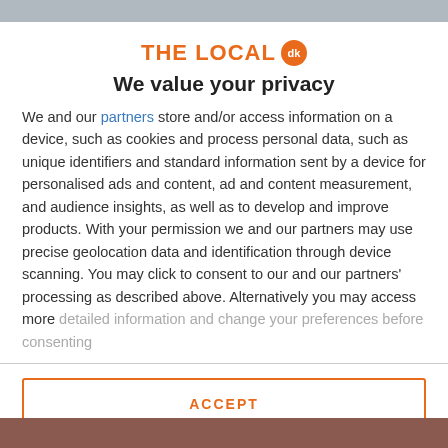[Figure (logo): The Local dk logo with orange text and orange circular badge with 'dk']
We value your privacy
We and our partners store and/or access information on a device, such as cookies and process personal data, such as unique identifiers and standard information sent by a device for personalised ads and content, ad and content measurement, and audience insights, as well as to develop and improve products. With your permission we and our partners may use precise geolocation data and identification through device scanning. You may click to consent to our and our partners' processing as described above. Alternatively you may access more detailed information and change your preferences before consenting
ACCEPT
MORE OPTIONS